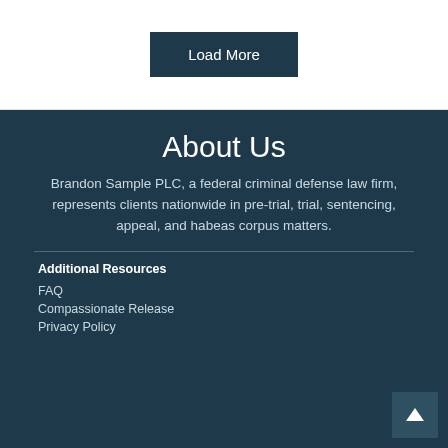Load More
About Us
Brandon Sample PLC, a federal criminal defense law firm, represents clients nationwide in pre-trial, trial, sentencing, appeal, and habeas corpus matters.
Additional Resources
FAQ
Compassionate Release
Privacy Policy